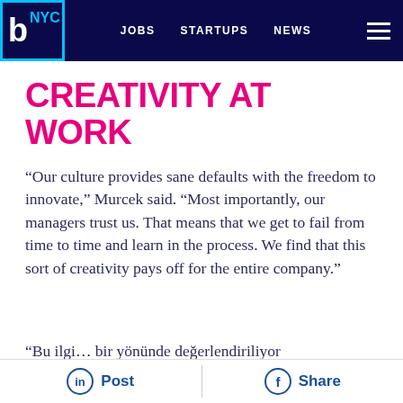b NYC   JOBS   STARTUPS   NEWS
CREATIVITY AT WORK
“Our culture provides sane defaults with the freedom to innovate,” Murcek said. “Most importantly, our managers trust us. That means that we get to fail from time to time and learn in the process. We find that this sort of creativity pays off for the entire company.”
Post   Share